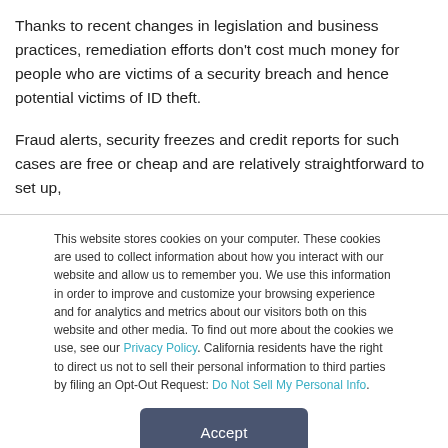Thanks to recent changes in legislation and business practices, remediation efforts don't cost much money for people who are victims of a security breach and hence potential victims of ID theft.
Fraud alerts, security freezes and credit reports for such cases are free or cheap and are relatively straightforward to set up,
This website stores cookies on your computer. These cookies are used to collect information about how you interact with our website and allow us to remember you. We use this information in order to improve and customize your browsing experience and for analytics and metrics about our visitors both on this website and other media. To find out more about the cookies we use, see our Privacy Policy. California residents have the right to direct us not to sell their personal information to third parties by filing an Opt-Out Request: Do Not Sell My Personal Info.